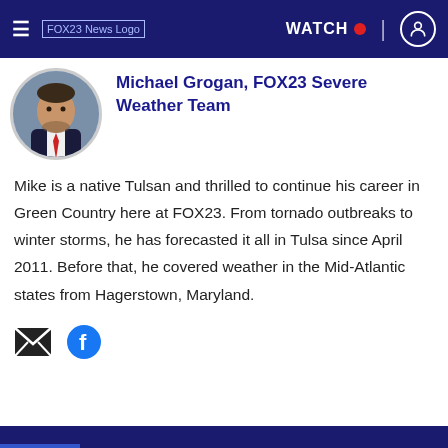FOX23 News — Navigation bar with menu, logo, WATCH, and profile icon
Michael Grogan, FOX23 Severe Weather Team
[Figure (photo): Circular headshot photo of Michael Grogan, a man in a suit and tie]
Mike is a native Tulsan and thrilled to continue his career in Green Country here at FOX23. From tornado outbreaks to winter storms, he has forecasted it all in Tulsa since April 2011. Before that, he covered weather in the Mid-Atlantic states from Hagerstown, Maryland.
[Figure (illustration): Email icon (envelope) and Facebook icon social media links]
FOX23 bottom navigation bar